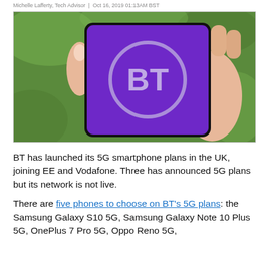Michelle Lafferty, Tech Advisor | Oct 16, 2019 01:13AM BST
[Figure (photo): A hand holding a smartphone with a purple BT logo screen, photographed outdoors with a green background.]
BT has launched its 5G smartphone plans in the UK, joining EE and Vodafone. Three has announced 5G plans but its network is not live.
There are five phones to choose on BT's 5G plans: the Samsung Galaxy S10 5G, Samsung Galaxy Note 10 Plus 5G, OnePlus 7 Pro 5G, Oppo Reno 5G,